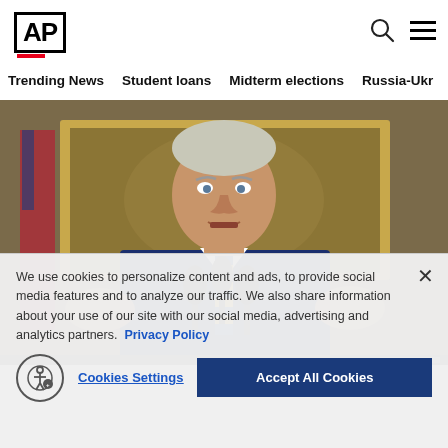AP
Trending News
Student loans
Midterm elections
Russia-Ukr
[Figure (photo): President Joe Biden speaking at podium with microphones, wearing blue suit and striped blue/yellow tie, with ornate gold-framed artwork in background]
We use cookies to personalize content and ads, to provide social media features and to analyze our traffic. We also share information about your use of our site with our social media, advertising and analytics partners. Privacy Policy
Cookies Settings
Accept All Cookies